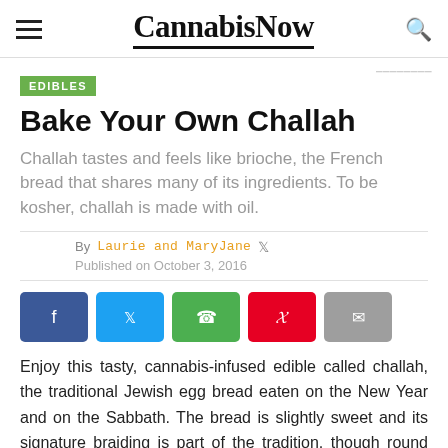CannabisNow
EDIBLES
Bake Your Own Challah
Challah tastes and feels like brioche, the French bread that shares many of its ingredients. To be kosher, challah is made with oil.
By Laurie and MaryJane  Published on October 3, 2016
[Figure (other): Social share buttons: Facebook, Twitter, WhatsApp, Pinterest, Email]
Enjoy this tasty, cannabis-infused edible called challah, the traditional Jewish egg bread eaten on the New Year and on the Sabbath. The bread is slightly sweet and its signature braiding is part of the tradition, though round challah is